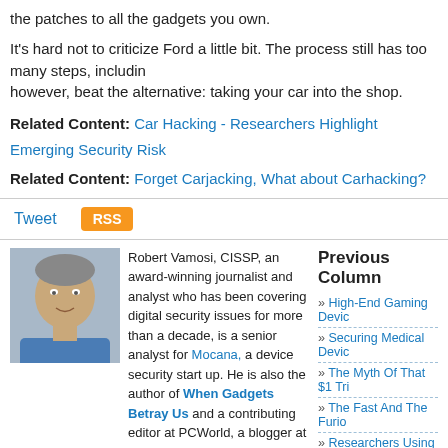the patches to all the gadgets you own.
It's hard not to criticize Ford a little bit. The process still has too many steps, including however, beat the alternative: taking your car into the shop.
Related Content: Car Hacking - Researchers Highlight Emerging Security Risk
Related Content: Forget Carjacking, What about Carhacking?
Tweet RSS
[Figure (photo): Headshot photo of Robert Vamosi]
Robert Vamosi, CISSP, an award-winning journalist and analyst who has been covering digital security issues for more than a decade, is a senior analyst for Mocana, a device security start up. He is also the author of When Gadgets Betray Us and a contributing editor at PCWorld, a blogger at Forbes.com, and a former Senior Editor at CNET. He lives in Northern California.
Previous Columns
High-End Gaming Devic...
Securing Medical Devic...
The Myth Of That $1 Tri...
The Fast And The Furio...
Researchers Using the Commands
Virtual Event Series - Security Summit Online Events by SecurityWeek
2022 ICS Cyber Security Conference | USA [Hybrid: Oct. 24-27]
2022 CISO Forum: September 13-14 - A Virtual Event